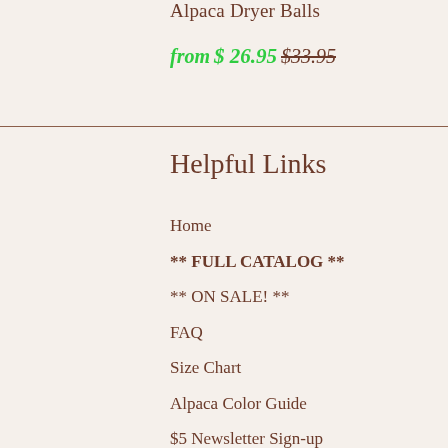Alpaca Dryer Balls
from $ 26.95 $33.95
Helpful Links
Home
** FULL CATALOG **
** ON SALE! **
FAQ
Size Chart
Alpaca Color Guide
$5 Newsletter Sign-up
Alpaca Fiber Call
Privacy Policy
Order Tracking